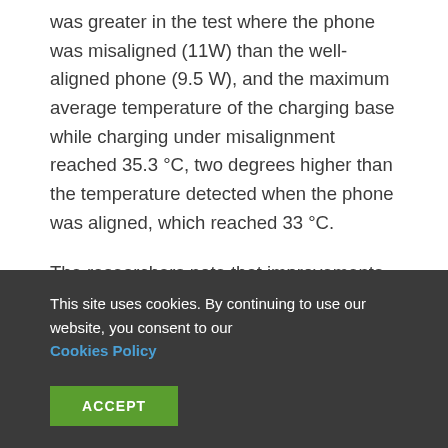was greater in the test where the phone was misaligned (11W) than the well-aligned phone (9.5 W), and the maximum average temperature of the charging base while charging under misalignment reached 35.3 °C, two degrees higher than the temperature detected when the phone was aligned, which reached 33 °C.
The researchers note that improvements to inductive charging design, such as using ultrathin coils, higher frequencies, and optimized drive electronics, could be
This site uses cookies. By continuing to use our website, you consent to our Cookies Policy
ACCEPT